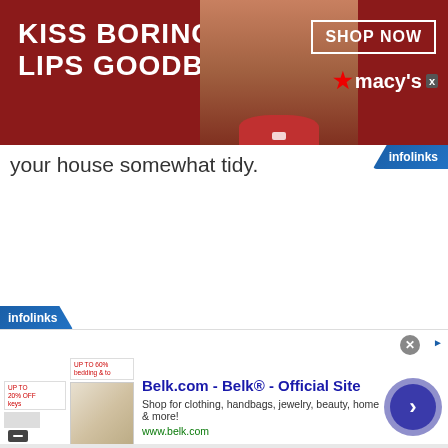[Figure (screenshot): Macy's banner advertisement: 'KISS BORING LIPS GOODBYE' with a woman model, SHOP NOW button, and Macy's star logo on dark red background]
your house somewhat tidy.
[Figure (screenshot): Infolinks logo badge top right]
[Figure (screenshot): Infolinks bottom badge and Belk.com advertisement: 'Belk.com - Belk® - Official Site', 'Shop for clothing, handbags, jewelry, beauty, home & more!', 'www.belk.com', with navigation arrow button]